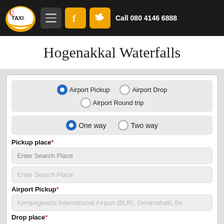UTaxi | Call 080 4146 6888
Hogenakkal Waterfalls
Airport Pickup (selected), Airport Drop, Airport Round trip
One way (selected), Two way
Pickup place*
Enter Search Place
Enter Search Place
Airport Pickup*
Kempegowda International Airport (BLR), Devanahalli, Be
Drop place*